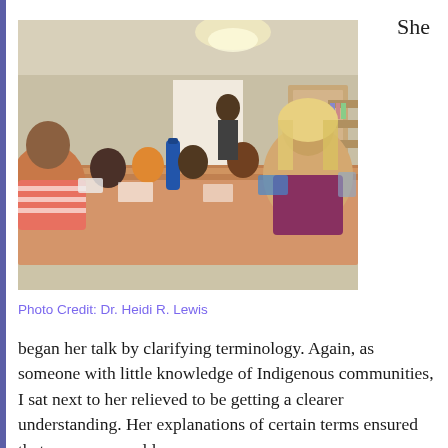She
[Figure (photo): A group of people sitting around a large conference table in a bright room, working and talking together.]
Photo Credit: Dr. Heidi R. Lewis
began her talk by clarifying terminology. Again, as someone with little knowledge of Indigenous communities, I sat next to her relieved to be getting a clearer understanding. Her explanations of certain terms ensured that everyone could